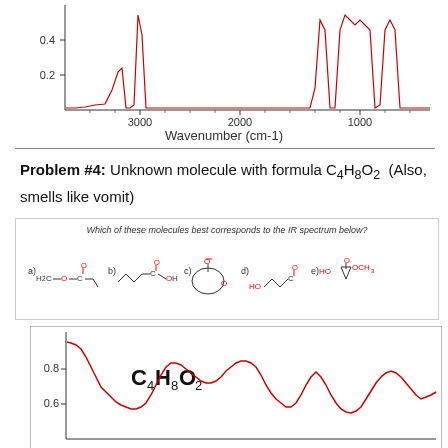[Figure (continuous-plot): IR spectrum (top portion), absorbance vs wavenumber from ~3500 to ~500 cm-1, showing peaks near 3000 and 1000 cm-1 region. Y-axis shows 0.2 and 0.4 absorbance values.]
Wavenumber (cm-1)
Problem #4: Unknown molecule with formula C4H8O2 (Also, smells like vomit)
[Figure (illustration): Multiple choice question showing 5 molecular structures labeled a) through e): a) methyl propanoate (H2C-O with carbonyl and ethyl), b) 4-hydroxybutanoic acid lactone or butyric acid (with OH), c) gamma-butyrolactone (cyclic ester), d) 3-hydroxypropanal or beta-hydroxy ketone (HO with carbonyl), e) methoxycyclopropanol (HO, OCH3 on cyclopropane ring). Question text: Which of these molecules best corresponds to the IR spectrum below?]
[Figure (continuous-plot): IR spectrum (bottom portion) labeled C4H8O2, absorbance vs wavenumber. Shows broad absorption around 0.7-0.8 in the middle region, multiple peaks on right side. Y-axis shows 0.6 and 0.8 values.]